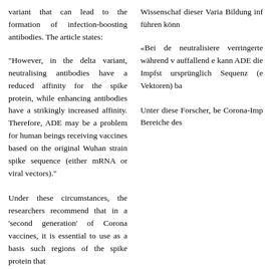variant that can lead to the formation of infection-boosting antibodies. The article states:
"However, in the delta variant, neutralising antibodies have a reduced affinity for the spike protein, while enhancing antibodies have a strikingly increased affinity. Therefore, ADE may be a problem for human beings receiving vaccines based on the original Wuhan strain spike sequence (either mRNA or viral vectors)."
Under these circumstances, the researchers recommend that in a 'second generation' of Corona vaccines, it is essential to use as a basis such regions of the spike protein that
Wissenschaf dieser Varia Bildung inf führen könn
«Bei de neutralisiere verringerte während v auffallend e kann ADE die Impfst ursprünglich Sequenz ( Vektoren) ba
Unter diese Forscher, be Corona-Imp Bereiche des